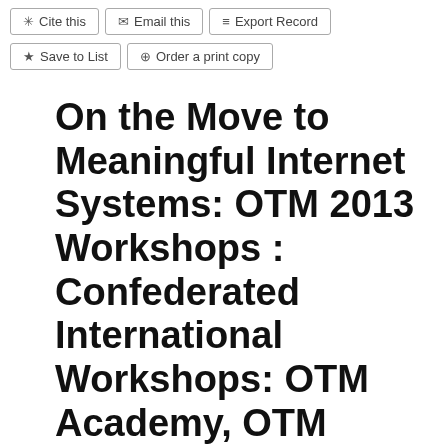* Cite this  ✉ Email this  ≡ Export Record  ★ Save to List  ⊕ Order a print copy
On the Move to Meaningful Internet Systems: OTM 2013 Workshops : Confederated International Workshops: OTM Academy, OTM Industry Case Studies Program, ACM, EI2N, ISDE, META4eS,